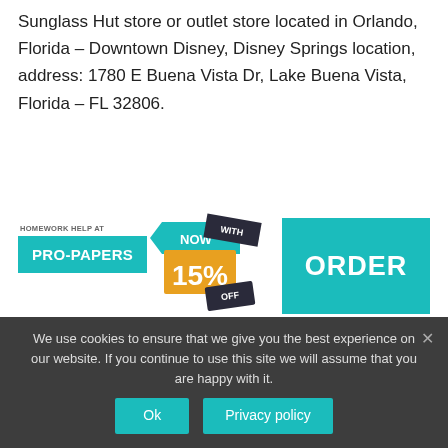Sunglass Hut store or outlet store located in Orlando, Florida – Downtown Disney, Disney Springs location, address: 1780 E Buena Vista Dr, Lake Buena Vista, Florida – FL 32806.
[Figure (infographic): Pro-Papers homework help advertisement banner with teal background showing 'HOMEWORK HELP AT PRO-PAPERS', discount stickers showing 'NOW WITH 15% OFF', and a teal ORDER button.]
How many sunglasses are lost at Disney World?
1.65 million
We use cookies to ensure that we give you the best experience on our website. If you continue to use this site we will assume that you are happy with it.